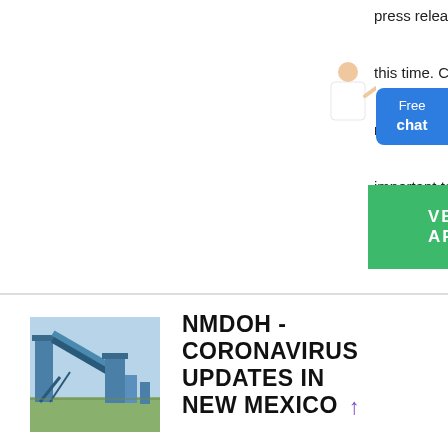press releases may not be available at this time. Consumers should check with recalling firms for further details. It is important to remember that CPSC and recalling firms urge consumers not to ...
[Figure (other): Free chat widget button with person illustration]
VER ARTÍCULO
[Figure (photo): Industrial mining or construction equipment with blue machinery and conveyor structures]
NMDOH - CORONAVIRUS UPDATES IN NEW MEXICO